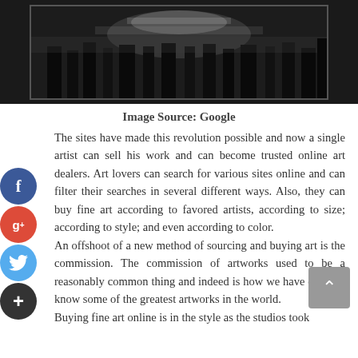[Figure (photo): Black and white photograph of a crowd or group of people in a dark urban/indoor setting, shown as a banner image at the top of the page.]
Image Source: Google
The sites have made this revolution possible and now a single artist can sell his work and can become trusted online art dealers. Art lovers can search for various sites online and can filter their searches in several different ways. Also, they can buy fine art according to favored artists, according to size; according to style; and even according to color.
An offshoot of a new method of sourcing and buying art is the commission. The commission of artworks used to be a reasonably common thing and indeed is how we have come to know some of the greatest artworks in the world.
Buying fine art online is in the style as the studios took